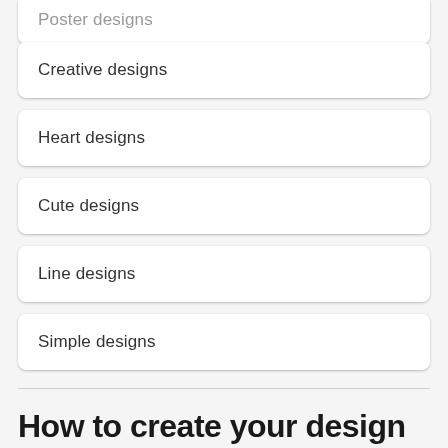Poster designs
Creative designs
Heart designs
Cute designs
Line designs
Simple designs
How to create your design